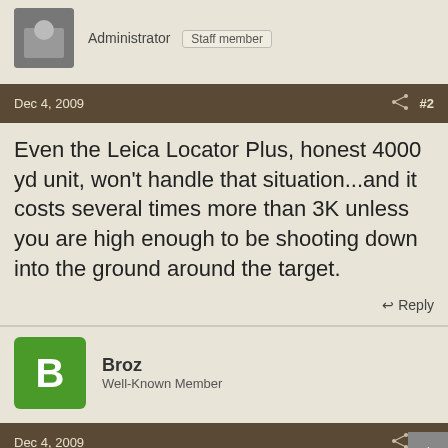Administrator  Staff member
Dec 4, 2009  #2
Even the Leica Locator Plus, honest 4000 yd unit, won't handle that situation...and it costs several times more than 3K unless you are high enough to be shooting down into the ground around the target.
Reply
Broz
Well-Known Member
Dec 4, 2009  #3
Len Backus said:
Even the Leica Locator Plus, honest 4000 yd unit, won't handle that situation...and it costs several times more than 3K unless